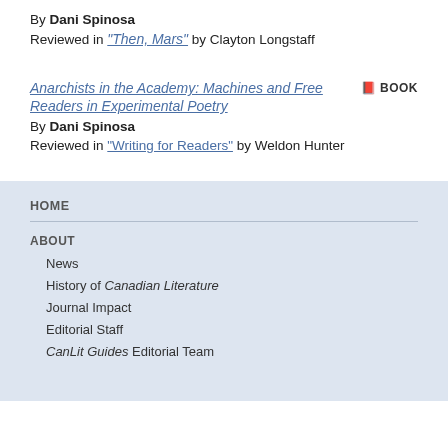By Dani Spinosa
Reviewed in "Then, Mars" by Clayton Longstaff
Anarchists in the Academy: Machines and Free Readers in Experimental Poetry
BOOK
By Dani Spinosa
Reviewed in "Writing for Readers" by Weldon Hunter
HOME
ABOUT
News
History of Canadian Literature
Journal Impact
Editorial Staff
CanLit Guides Editorial Team